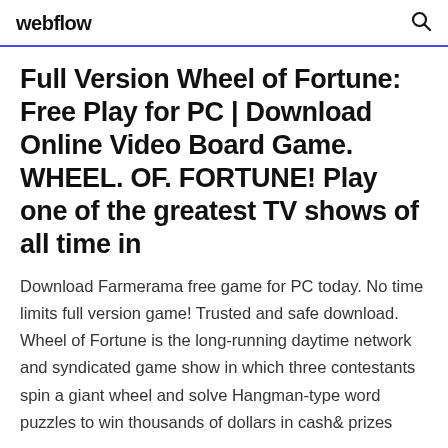webflow
Full Version Wheel of Fortune: Free Play for PC | Download Online Video Board Game. WHEEL. OF. FORTUNE! Play one of the greatest TV shows of all time in
Download Farmerama free game for PC today. No time limits full version game! Trusted and safe download. Wheel of Fortune is the long-running daytime network and syndicated game show in which three contestants spin a giant wheel and solve Hangman-type word puzzles to win thousands of dollars in cash& prizes